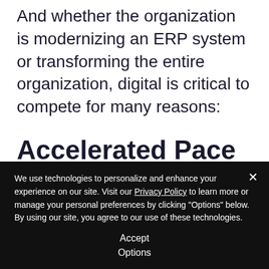And whether the organization is modernizing an ERP system or transforming the entire organization, digital is critical to compete for many reasons:
Accelerated Pace of Business
We use technologies to personalize and enhance your experience on our site. Visit our Privacy Policy to learn more or manage your personal preferences by clicking "Options" below. By using our site, you agree to our use of these technologies.
Accept
Options